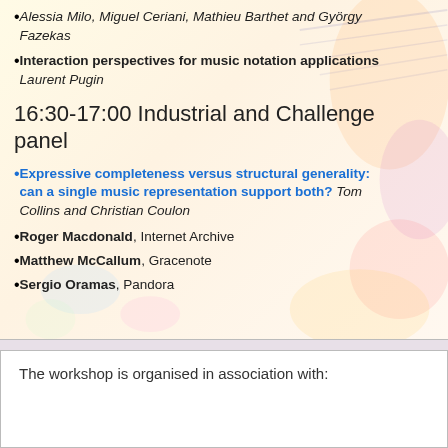Alessia Milo, Miguel Ceriani, Mathieu Barthet and György Fazekas
Interaction perspectives for music notation applications Laurent Pugin
16:30-17:00 Industrial and Challenge panel
Expressive completeness versus structural generality: can a single music representation support both? Tom Collins and Christian Coulon
Roger Macdonald, Internet Archive
Matthew McCallum, Gracenote
Sergio Oramas, Pandora
The workshop is organised in association with: